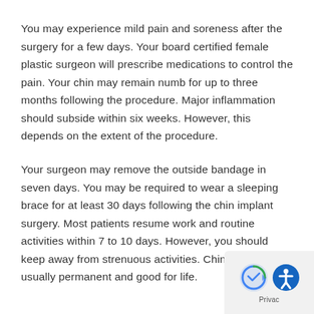You may experience mild pain and soreness after the surgery for a few days. Your board certified female plastic surgeon will prescribe medications to control the pain. Your chin may remain numb for up to three months following the procedure. Major inflammation should subside within six weeks. However, this depends on the extent of the procedure.
Your surgeon may remove the outside bandage in seven days. You may be required to wear a sleeping brace for at least 30 days following the chin implant surgery. Most patients resume work and routine activities within 7 to 10 days. However, you should keep away from strenuous activities. Chin implants are usually permanent and good for life.
[Figure (logo): Privacy/accessibility badge with reCAPTCHA icon and accessibility icon in bottom-right corner]